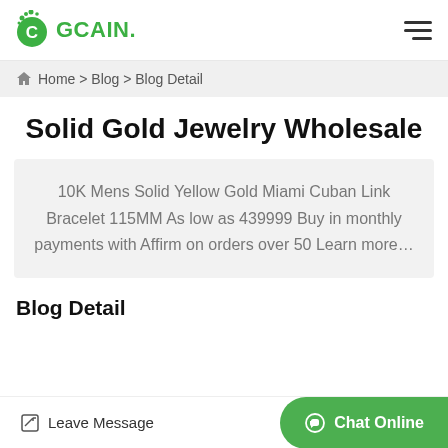GCAIN.
Home > Blog > Blog Detail
Solid Gold Jewelry Wholesale
10K Mens Solid Yellow Gold Miami Cuban Link Bracelet 115MM As low as 439999 Buy in monthly payments with Affirm on orders over 50 Learn more…
Blog Detail
Leave Message
Chat Online